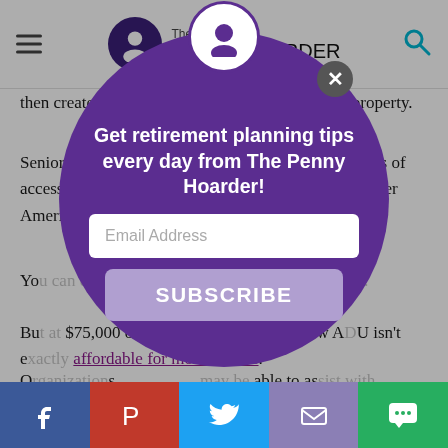The Penny Hoarder
then create a unit on an adult child's or relative's property.
Senior advocacy groups like AARP are big supporters of accessory dwelling units as a housing solution for older Americans.
You can check out this map of ADUs, to find out...
But at $75,000 or more, creating a brand new ADU isn't exactly affordable for most retirees.
Organizations... may be able to assist with... home seniors.
You can also contact your local Agency on Aging to see if home... is available
[Figure (screenshot): Modal popup overlay on The Penny Hoarder website with subscription form. Purple circle modal with headline 'Get retirement planning tips every day from The Penny Hoarder!', email input field, and SUBSCRIBE button.]
Social sharing bar: Facebook, Pinterest, Twitter, Email, Chat